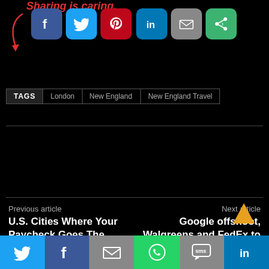Sharing is caring.
[Figure (infographic): Social sharing icons: Facebook (blue), Twitter (light blue), Pinterest (red), LinkedIn (blue), Email (gray), Grow (green), with a red arrow pointing to them]
TAGS   London   New England   New England Travel
Previous article
U.S. Cities Where Your Paycheck Goes The Furthest In 2019
Next article
Google offshoot, Walgreens and FedEx to launch drone deliveries within a month
[Figure (infographic): Bottom sharing bar with Twitter, Facebook, Email, WhatsApp, SMS, LinkedIn icons]